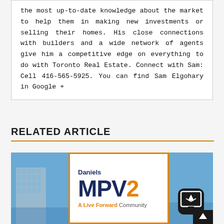the most up-to-date knowledge about the market to help them in making new investments or selling their homes. His close connections with builders and a wide network of agents give him a competitive edge on everything to do with Toronto Real Estate. Connect with Sam: Cell 416-565-5925. You can find Sam Elgohary in Google +
RELATED ARTICLE
[Figure (photo): Related article image strip showing a building on the left with blue sky background, center panel showing Daniels MPV2 - A Live Forward Community advertisement with orange border, and right portion with blue sky. A dark chat/email button and up arrow visible on right side.]